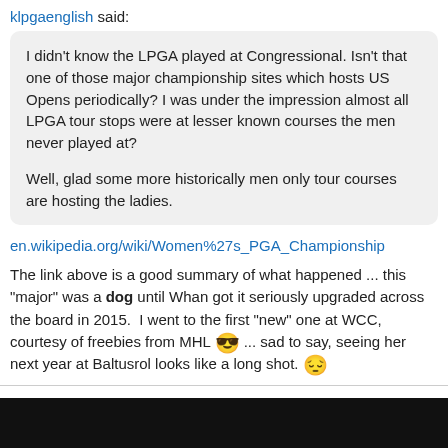klpgaenglish said:
I didn't know the LPGA played at Congressional. Isn't that one of those major championship sites which hosts US Opens periodically? I was under the impression almost all LPGA tour stops were at lesser known courses the men never played at?

Well, glad some more historically men only tour courses are hosting the ladies.
en.wikipedia.org/wiki/Women%27s_PGA_Championship
The link above is a good summary of what happened ... this "major" was a dog until Whan got it seriously upgraded across the board in 2015.  I went to the first "new" one at WCC, courtesy of freebies from MHL 😎 ... sad to say, seeing her next year at Baltusrol looks like a long shot. 😔
HappyFan
Administrator
★★★★★
Jun 21, 2022 at 5:14pm